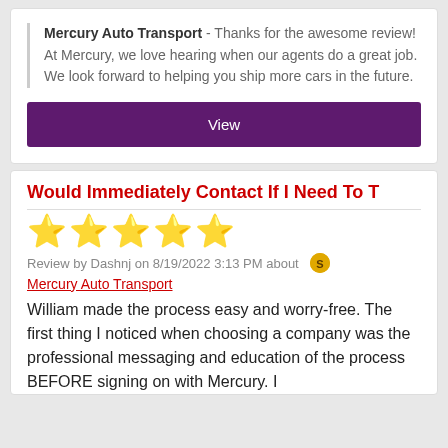Mercury Auto Transport - Thanks for the awesome review! At Mercury, we love hearing when our agents do a great job. We look forward to helping you ship more cars in the future.
View
Would Immediately Contact If I Need To T
[Figure (other): 5 gold star rating icons]
Review by Dashnj on 8/19/2022 3:13 PM about
Mercury Auto Transport
William made the process easy and worry-free. The first thing I noticed when choosing a company was the professional messaging and education of the process BEFORE signing on with Mercury. I